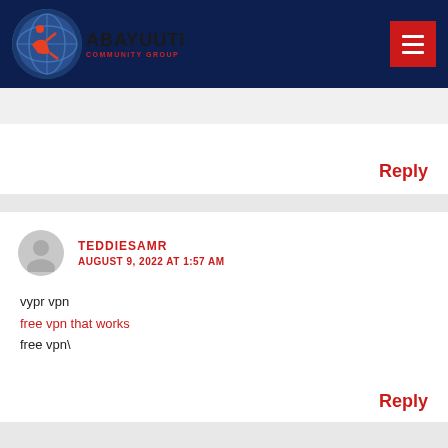[Figure (logo): Abayuuti Community Group logo with globe and figure graphic on dark navy header bar with hamburger menu button]
Reply
TEDDIESAMR
AUGUST 9, 2022 AT 1:57 AM

vypr vpn
free vpn that works
free vpn\
Reply